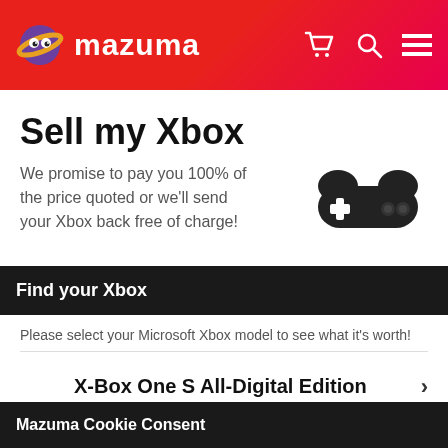mazuma
Sell my Xbox
We promise to pay you 100% of the price quoted or we'll send your Xbox back free of charge!
[Figure (illustration): Dark game controller icon with plus button and circular buttons]
Find your Xbox
Please select your Microsoft Xbox model to see what it's worth!
X-Box One S All-Digital Edition
Mazuma Cookie Consent